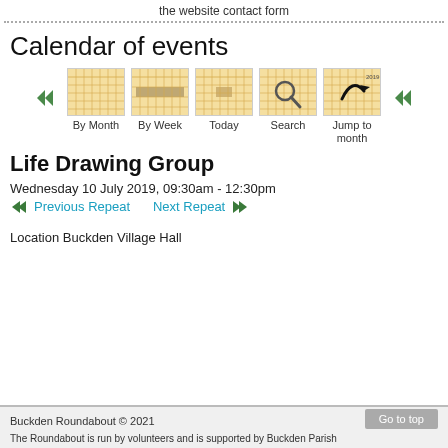the website contact form
Calendar of events
[Figure (screenshot): Calendar navigation toolbar with icons: By Month, By Week, Today, Search, Jump to month, with left and right arrow navigation]
Life Drawing Group
Wednesday 10 July 2019, 09:30am - 12:30pm
Previous Repeat   Next Repeat
Location Buckden Village Hall
Buckden Roundabout © 2021
The Roundabout is run by volunteers and is supported by Buckden Parish